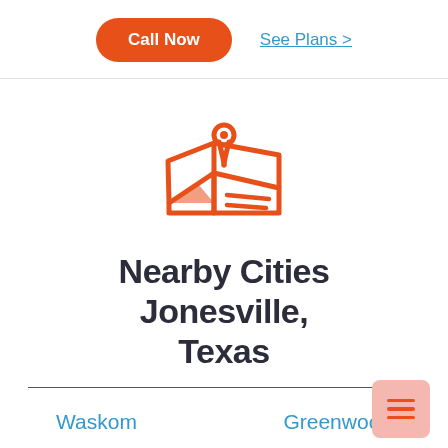Call Now
See Plans >
[Figure (illustration): Orange map pin / location icon over a stylized folded map illustration]
Nearby Cities Jonesville, Texas
Waskom
Greenwood